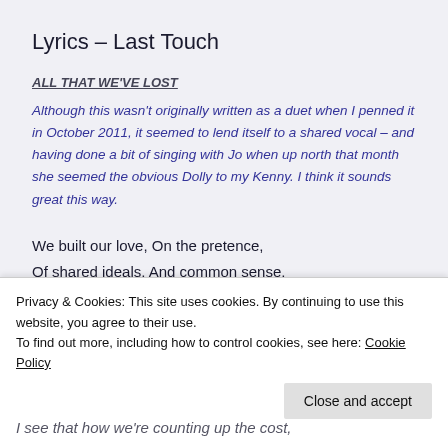Lyrics – Last Touch
ALL THAT WE'VE LOST
Although this wasn't originally written as a duet when I penned it in October 2011, it seemed to lend itself to a shared vocal – and having done a bit of singing with Jo when up north that month she seemed the obvious Dolly to my Kenny. I think it sounds great this way.
We built our love, On the pretence,
Of shared ideals, And common sense,
But the truth, Was something near,
Privacy & Cookies: This site uses cookies. By continuing to use this website, you agree to their use.
To find out more, including how to control cookies, see here: Cookie Policy
I see that how we're counting up the cost,